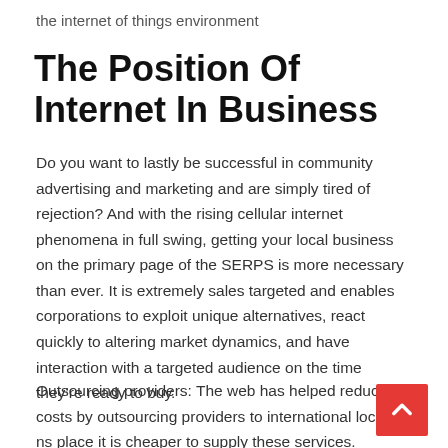the internet of things environment
The Position Of Internet In Business
Do you want to lastly be successful in community advertising and marketing and are simply tired of rejection? And with the rising cellular internet phenomena in full swing, getting your local business on the primary page of the SERPS is more necessary than ever. It is extremely sales targeted and enables corporations to exploit unique alternatives, react quickly to altering market dynamics, and have interaction with a targeted audience on the time they’re ready to buy.
Outsourcing providers: The web has helped reduce costs by outsourcing providers to international locations place it is cheaper to supply these services. SEARCH